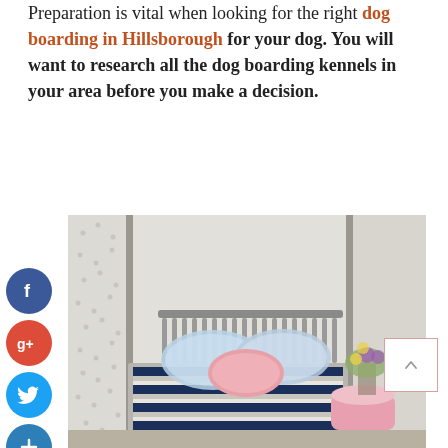Preparation is vital when looking for the right dog boarding in Hillsborough for your dog. You will want to research all the dog boarding kennels in your area before you make a decision.
[Figure (photo): Interior photo of a dog boarding room with a low metal-frame bed covered in a navy and white striped blanket, fluffy pillows (pink and blue-white), a pink cylindrical ottoman/pouf, and a flower arrangement, in a room with grey walls and dotted curtains.]